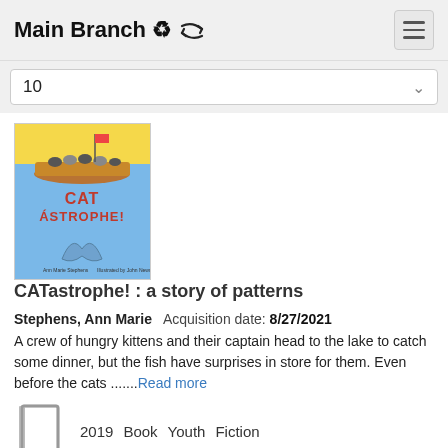Main Branch
10
[Figure (illustration): Book cover of CATastrophe! showing cats in a boat on water with a whale tail below, red text CATÁSTROPHE! on blue background]
CATastrophe! : a story of patterns
Stephens, Ann Marie   Acquisition date: 8/27/2021
A crew of hungry kittens and their captain head to the lake to catch some dinner, but the fish have surprises in store for them. Even before the cats .......Read more
2019   Book   Youth   Fiction
Picture books   Educational